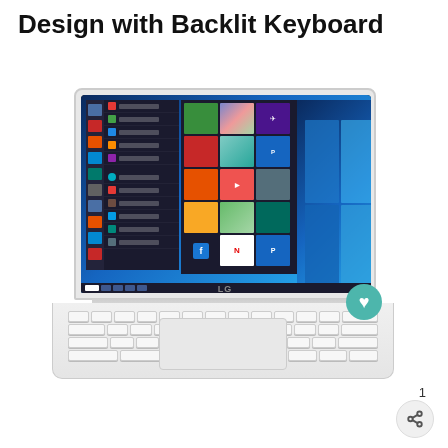Design with Backlit Keyboard
[Figure (photo): LG laptop computer shown from front, open, displaying Windows 10 Start menu on screen. White body with backlit keyboard visible. LG logo on screen bezel.]
1